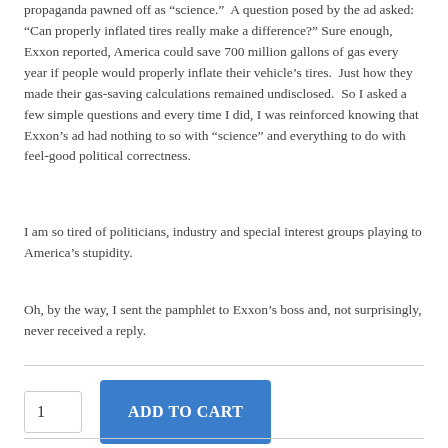propaganda pawned off as “science.”  A question posed by the ad asked: “Can properly inflated tires really make a difference?”  Sure enough, Exxon reported, America could save 700 million gallons of gas every year if people would properly inflate their vehicle’s tires.  Just how they made their gas-saving calculations remained undisclosed.  So I asked a few simple questions and every time I did, I was reinforced knowing that Exxon’s ad had nothing to so with “science” and everything to do with feel-good political correctness.
I am so tired of politicians, industry and special interest groups playing to America’s stupidity.
Oh, by the way, I sent the pamphlet to Exxon’s boss and, not surprisingly, never received a reply.